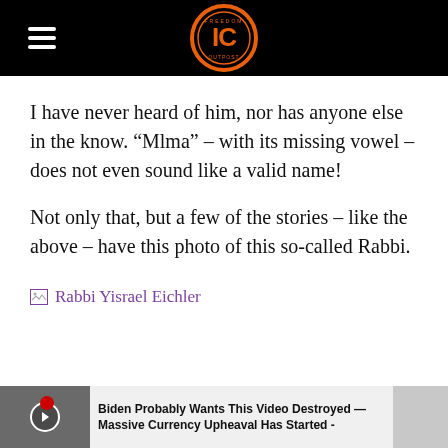[IC logo header with hamburger menu]
I have never heard of him, nor has anyone else in the know. “Mlma” – with its missing vowel – does not even sound like a valid name!
Not only that, but a few of the stories – like the above – have this photo of this so-called Rabbi.
[Figure (photo): Broken image placeholder link labeled 'Rabbi Yisrael Eichler' shown as a purple hyperlink with broken image icon]
Biden Probably Wants This Video Destroyed — Massive Currency Upheaval Has Started -